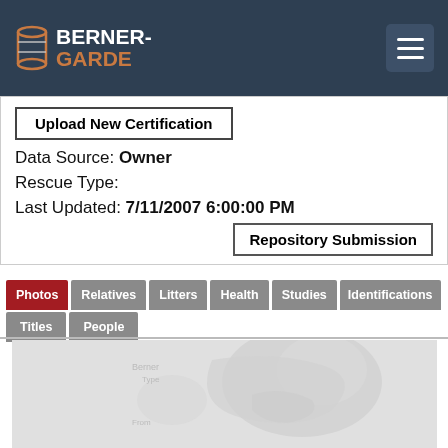BERNER-GARDE
Upload New Certification
Data Source: Owner
Rescue Type:
Last Updated: 7/11/2007 6:00:00 PM
Repository Submission
Photos
Relatives
Litters
Health
Studies
Identifications
Titles
People
[Figure (photo): A faded/washed-out photograph of what appears to be a dog, light gray tones, barely visible]